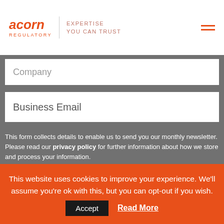acorn REGULATORY | EXPERTISE YOU CAN TRUST
Company
Business Email
This form collects details to enable us to send you our monthly newsletter. Please read our privacy policy for further information about how we store and process your information.
Subscribe to our newsletter
Contact Details
This website uses cookies to improve your experience. We'll assume you're ok with this, but you can opt-out if you wish.
Accept  Read More